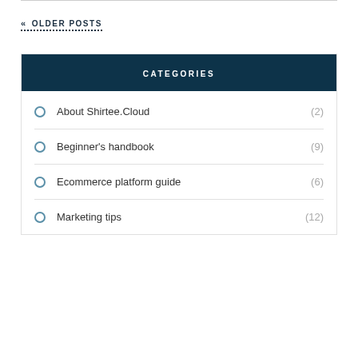« OLDER POSTS
CATEGORIES
About Shirtee.Cloud (2)
Beginner's handbook (9)
Ecommerce platform guide (6)
Marketing tips (12)